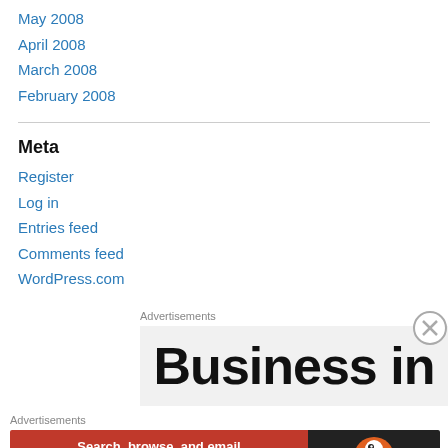May 2008
April 2008
March 2008
February 2008
Meta
Register
Log in
Entries feed
Comments feed
WordPress.com
Advertisements
[Figure (other): Advertisement banner showing 'Business in' large text on grey background]
Advertisements
[Figure (other): DuckDuckGo advertisement: Search, browse, and email with more privacy. All in One Free App]